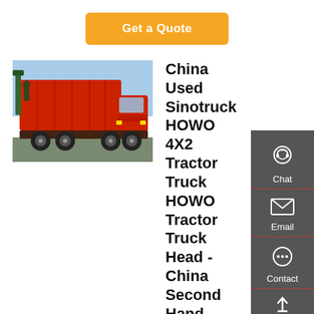Get a Quote
[Figure (photo): Red Sinotruck HOWO dump truck photographed outdoors, side/front angle view, red cab and tipper body, green crane/hydraulic arm visible, daylight.]
China Used Sinotruck HOWO 4X2 Tractor Truck HOWO Tractor Truck Head - China Second Hand Tow Tractor Truck, Used ...
Second Hand Tow Tractor Truck, Used Sinotruck, Truck Head manufacturer / supplier in China, offering Used Sinotruck HOWO 4X2 Tractor Truck, HOWO